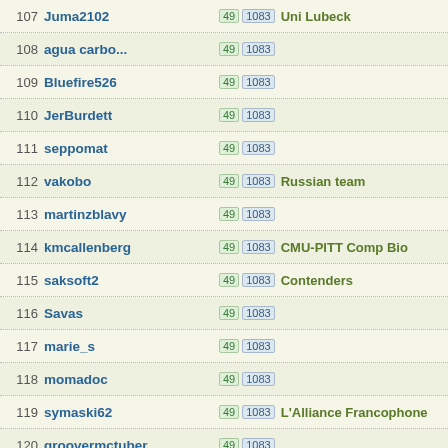| Rank | Username | Badges | Team |
| --- | --- | --- | --- |
| 107 | Juma2102 | 49 1083 | Uni Lubeck |
| 108 | agua carbo... | 49 1083 |  |
| 109 | Bluefire526 | 49 1083 |  |
| 110 | JerBurdett | 49 1083 |  |
| 111 | seppomat | 49 1083 |  |
| 112 | vakobo | 49 1083 | Russian team |
| 113 | martinzblavy | 49 1083 |  |
| 114 | kmcallenberg | 49 1083 | CMU-PITT Comp Bio |
| 115 | saksoft2 | 49 1083 | Contenders |
| 116 | Savas | 49 1083 |  |
| 117 | marie_s | 49 1083 |  |
| 118 | momadoc | 49 1083 |  |
| 119 | symaski62 | 49 1083 | L'Alliance Francophone |
| 120 | groovermctuber | 49 1083 |  |
| 121 | spvincent | 31 10 | Contenders |
| 122 | delawarekid | 49 1083 |  |
| 123 | edisons el... | 49 1083 |  |
| 124 | GWW57 | 49 1083 |  |
| 125 | Perzik | 49 1083 | Boinc.be |